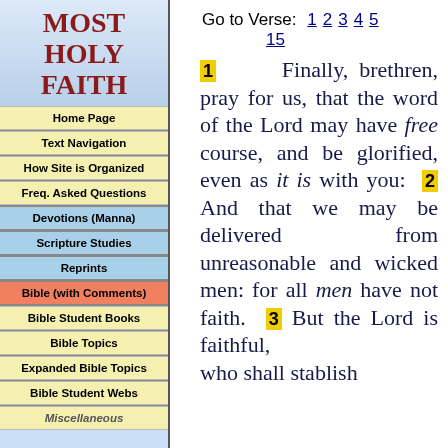MOST HOLY FAITH
Home Page
Text Navigation
How Site is Organized
Freq. Asked Questions
Devotions (Manna)
Scripture Studies
Reprints
Bible (with Comments)
Bible Student Books
Bible Topics
Expanded Bible Topics
Bible Student Webs
Miscellaneous
Go to Verse: 1 2 3 4 5 15
1 Finally, brethren, pray for us, that the word of the Lord may have free course, and be glorified, even as it is with you: 2 And that we may be delivered from unreasonable and wicked men: for all men have not faith. 3 But the Lord is faithful, who shall stablish